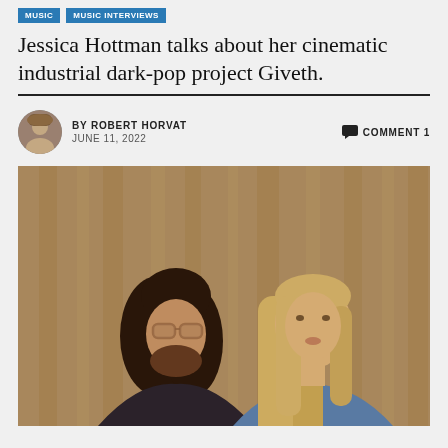MUSIC | MUSIC INTERVIEWS
Jessica Hottman talks about her cinematic industrial dark-pop project Giveth.
BY ROBERT HORVAT | JUNE 11, 2022 | COMMENT 1
[Figure (photo): Two people posed against a wood-paneled background. On the left, a man with long dark hair and glasses wearing a red turtleneck and dark jacket. On the right, a woman with long straight blonde hair wearing a blue denim jacket, looking directly at the camera.]